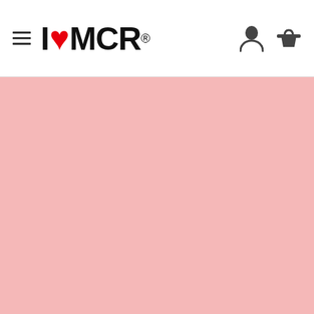I ♥ MCR® — navigation header with hamburger menu, logo, user icon, and basket icon
[Figure (other): Solid pink/salmon background area filling the lower portion of the page below the navigation header]